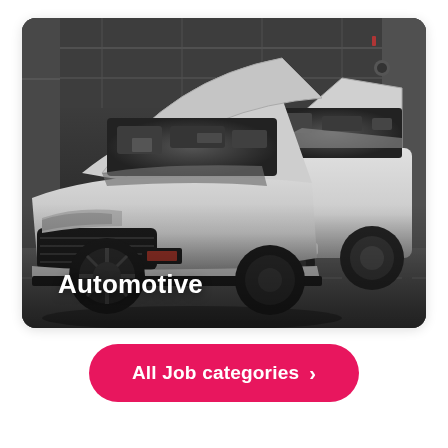[Figure (photo): Black and white photo of two white sports cars with hoods open in a parking garage. A modified Nissan GT-R is in the foreground, and a Subaru WRX/STI is in the background. The image is displayed in a rounded-corner card.]
Automotive
All Job categories >